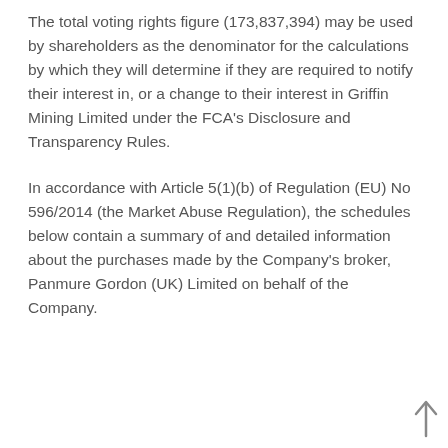The total voting rights figure (173,837,394) may be used by shareholders as the denominator for the calculations by which they will determine if they are required to notify their interest in, or a change to their interest in Griffin Mining Limited under the FCA's Disclosure and Transparency Rules.
In accordance with Article 5(1)(b) of Regulation (EU) No 596/2014 (the Market Abuse Regulation), the schedules below contain a summary of and detailed information about the purchases made by the Company's broker, Panmure Gordon (UK) Limited on behalf of the Company.